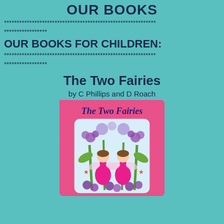OUR BOOKS
************************************************************
*****************
OUR BOOKS FOR CHILDREN:
************************************************************
*****************
The Two Fairies
by C Phillips and D Roach
[Figure (illustration): Book cover for 'The Two Fairies' showing a pink background with two fairy girls in pink dresses surrounded by purple flowers and green stems, with small stars. The title 'The Two Fairies' appears in purple italic text at the top of the cover.]